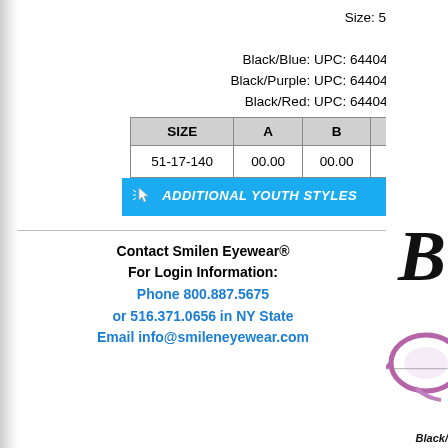Size: 51-17-140
Colors:
Black/Blue: UPC: 644042579362
Black/Purple: UPC: 644042579355
Black/Red: UPC: 644042579348
| SIZE | A | B | ED |
| --- | --- | --- | --- |
| 51-17-140 | 00.00 | 00.00 | 00.00 |
[Figure (other): Blue banner button with cursor/hand icon and italic bold white text 'ADDITIONAL YOUTH STYLES']
Contact Smilen Eyewear®
For Login Information:
Phone 800.887.5675
or 516.371.0656 in NY State
Email info@smileneyewear.com
[Figure (photo): Partial view of eyeglasses and large italic bold letter B, with caption 'Black/' at bottom right]